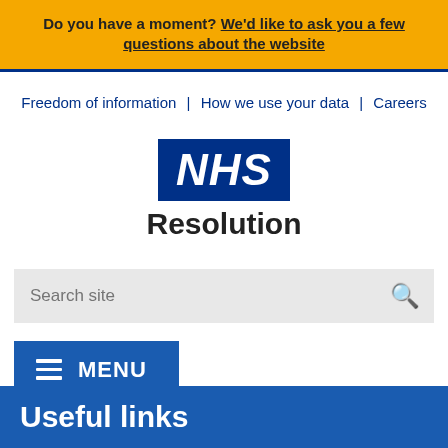Do you have a moment? We'd like to ask you a few questions about the website
Freedom of information | How we use your data | Careers
[Figure (logo): NHS Resolution logo — NHS in white italic bold text on a blue rectangle, with 'Resolution' in bold black below]
Search site
MENU
Useful links